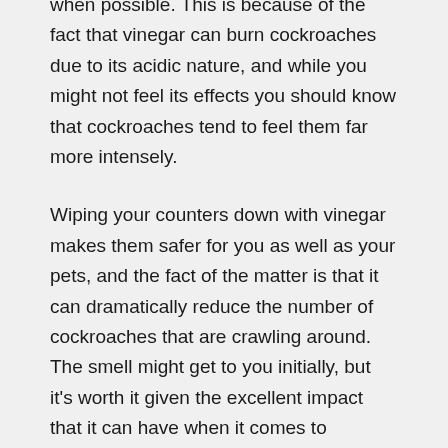when possible. This is because of the fact that vinegar can burn cockroaches due to its acidic nature, and while you might not feel its effects you should know that cockroaches tend to feel them far more intensely.
Wiping your counters down with vinegar makes them safer for you as well as your pets, and the fact of the matter is that it can dramatically reduce the number of cockroaches that are crawling around. The smell might get to you initially, but it's worth it given the excellent impact that it can have when it comes to clearing your surrounding area of pesky insects that never seem to die no matter how much you try. We feel like vinegar is superior to bug spray in this